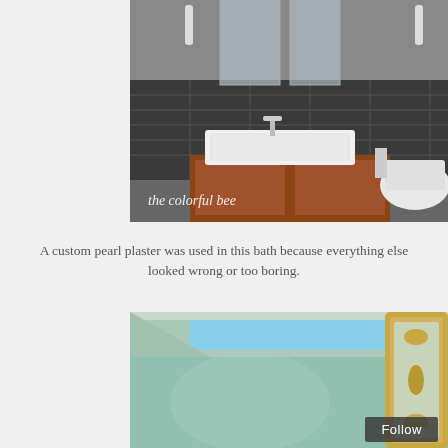[Figure (photo): Bathroom interior with dark tile backsplash, white vessel sink on wooden vanity, mirror, and toilet. Watermark text 'the colorful bee' in white handwritten font at bottom left of image.]
A custom pearl plaster was used in this bath because everything else looked wrong or too boring.
[Figure (photo): Interior room with teal/sage green plaster walls, skylight showing blue sky, and ornate gold-framed mirror on the right side.]